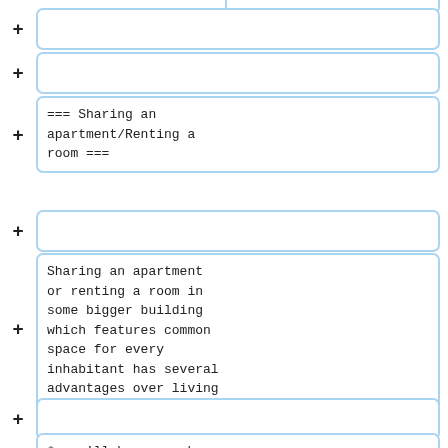(empty collapsed box)
(empty collapsed box)
=== Sharing an apartment/Renting a room ===
(empty collapsed box)
Sharing an apartment or renting a room in some bigger building which features common space for every inhabitant has several advantages over living alone:
(empty collapsed box)
* you'll be never be alone